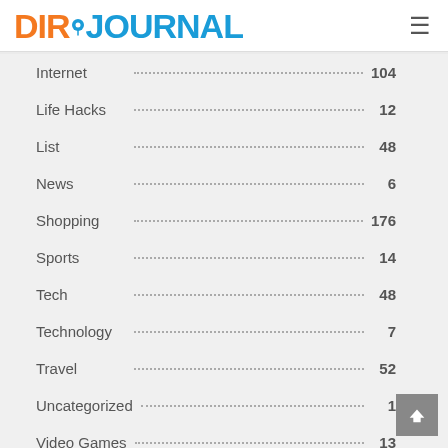DIRJOURNAL
Internet · · · · · · · · · · · · · · · · · · · · · · · · · 104
Life Hacks · · · · · · · · · · · · · · · · · · · · · · · · 12
List · · · · · · · · · · · · · · · · · · · · · · · · · · · · 48
News · · · · · · · · · · · · · · · · · · · · · · · · · · · 6
Shopping · · · · · · · · · · · · · · · · · · · · · · · · 176
Sports · · · · · · · · · · · · · · · · · · · · · · · · · · 14
Tech · · · · · · · · · · · · · · · · · · · · · · · · · · · 48
Technology · · · · · · · · · · · · · · · · · · · · · · · 7
Travel · · · · · · · · · · · · · · · · · · · · · · · · · · 52
Uncategorized · · · · · · · · · · · · · · · · · · · · · 1
Video Games · · · · · · · · · · · · · · · · · · · · · · 13